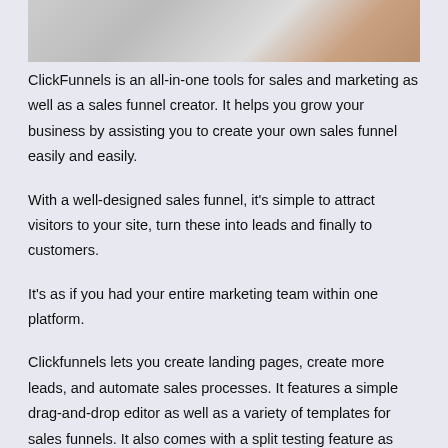[Figure (photo): Partial photo at top of page showing blurred objects, likely a lifestyle/marketing image]
ClickFunnels is an all-in-one tools for sales and marketing as well as a sales funnel creator. It helps you grow your business by assisting you to create your own sales funnel easily and easily.
With a well-designed sales funnel, it's simple to attract visitors to your site, turn these into leads and finally to customers.
It's as if you had your entire marketing team within one platform.
Clickfunnels lets you create landing pages, create more leads, and automate sales processes. It features a simple drag-and-drop editor as well as a variety of templates for sales funnels. It also comes with a split testing feature as well as sales analytics to help you track your sales data.
Clickfunnels is focused on helping you make money and expand your